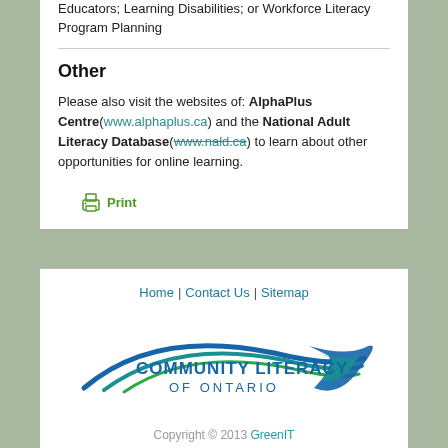Educators; Learning Disabilities; or Workforce Literacy Program Planning
Other
Please also visit the websites of: AlphaPlus Centre(www.alphaplus.ca) and the National Adult Literacy Database(www.nald.ca) to learn about other opportunities for online learning.
Print
Home | Contact Us | Sitemap
[Figure (logo): Community Literacy of Ontario logo with swooping blue and green arc lines]
Copyright © 2013 GreenIT